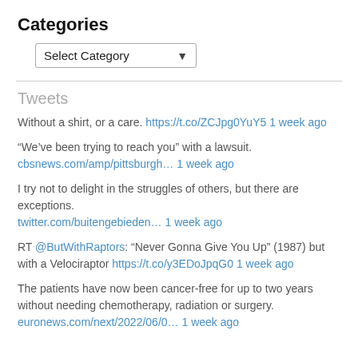Categories
Select Category
Tweets
Without a shirt, or a care. https://t.co/ZCJpg0YuY5 1 week ago
“We’ve been trying to reach you” with a lawsuit. cbsnews.com/amp/pittsburgh… 1 week ago
I try not to delight in the struggles of others, but there are exceptions. twitter.com/buitengebieden… 1 week ago
RT @ButWithRaptors: “Never Gonna Give You Up” (1987) but with a Velociraptor https://t.co/y3EDoJpqG0 1 week ago
The patients have now been cancer-free for up to two years without needing chemotherapy, radiation or surgery. euronews.com/next/2022/06/0… 1 week ago